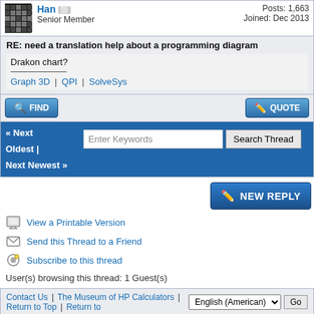Han | Senior Member | Posts: 1,663 | Joined: Dec 2013
RE: need a translation help about a programming diagram
Drakon chart?
Graph 3D | QPI | SolveSys
FIND | QUOTE
« Next Oldest | Next Newest »
Enter Keywords [Search Thread]
NEW REPLY
View a Printable Version
Send this Thread to a Friend
Subscribe to this thread
User(s) browsing this thread: 1 Guest(s)
Contact Us | The Museum of HP Calculators | Return to Top | Return to